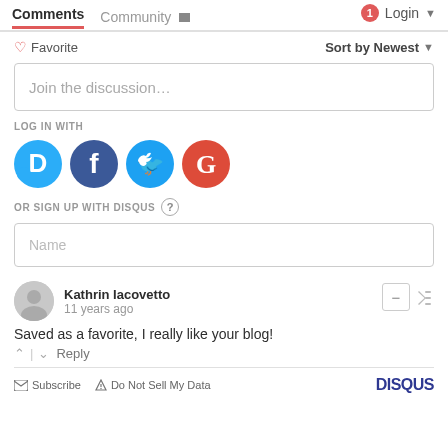Comments  Community  Login
♡ Favorite   Sort by Newest
Join the discussion…
LOG IN WITH
[Figure (logo): Social login icons: Disqus (blue speech bubble with D), Facebook (dark blue circle with F), Twitter (light blue circle with bird), Google (red circle with G)]
OR SIGN UP WITH DISQUS ?
Name
Kathrin Iacovetto
11 years ago
Saved as a favorite, I really like your blog!
↑ | ↓  Reply
✉ Subscribe   ▲ Do Not Sell My Data   DISQUS